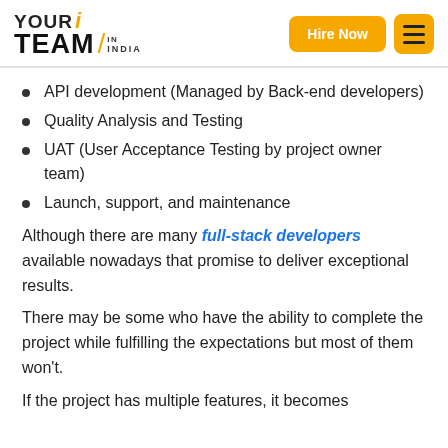YOUR TEAM IN INDIA — Hire Now
API development (Managed by Back-end developers)
Quality Analysis and Testing
UAT (User Acceptance Testing by project owner team)
Launch, support, and maintenance
Although there are many full-stack developers available nowadays that promise to deliver exceptional results.
There may be some who have the ability to complete the project while fulfilling the expectations but most of them won't.
If the project has multiple features, it becomes